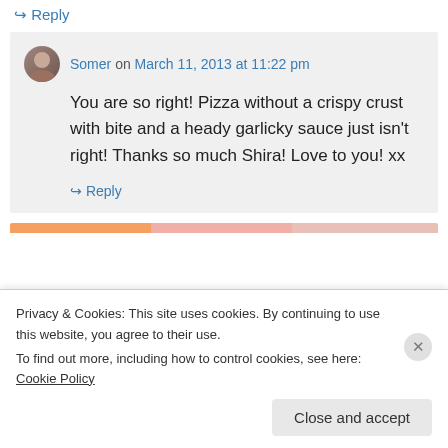↪ Reply
Somer on March 11, 2013 at 11:22 pm
You are so right! Pizza without a crispy crust with bite and a heady garlicky sauce just isn't right! Thanks so much Shira! Love to you! xx
↪ Reply
Privacy & Cookies: This site uses cookies. By continuing to use this website, you agree to their use.
To find out more, including how to control cookies, see here: Cookie Policy
Close and accept